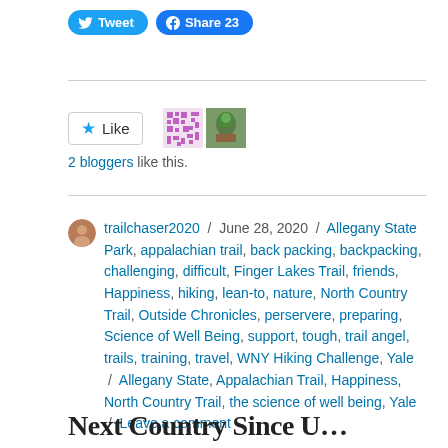[Figure (screenshot): Social sharing buttons: Tweet (Twitter) and Share 23 (Facebook)]
[Figure (screenshot): WordPress Like button with star icon, two blogger avatar images, and text '2 bloggers like this.']
trailchaser2020 / June 28, 2020 / Allegany State Park, appalachian trail, back packing, backpacking, challenging, difficult, Finger Lakes Trail, friends, Happiness, hiking, lean-to, nature, North Country Trail, Outside Chronicles, perservere, preparing, Science of Well Being, support, tough, trail angel, trails, training, travel, WNY Hiking Challenge, Yale / Allegany State, Appalachian Trail, Happiness, North Country Trail, the science of well being, Yale / Leave a comment
Next Country Since U...